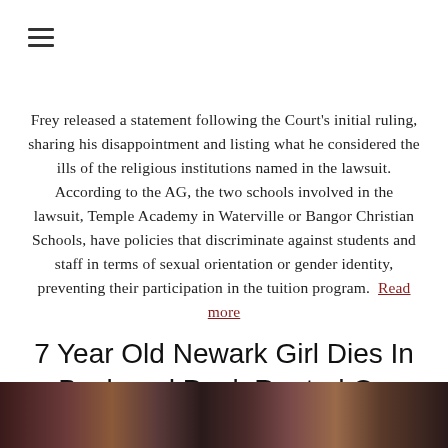[Figure (other): Hamburger menu icon with three horizontal lines]
Frey released a statement following the Court's initial ruling, sharing his disappointment and listing what he considered the ills of the religious institutions named in the lawsuit. According to the AG, the two schools involved in the lawsuit, Temple Academy in Waterville or Bangor Christian Schools, have policies that discriminate against students and staff in terms of sexual orientation or gender identity, preventing their participation in the tuition program. Read more
7 Year Old Newark Girl Dies In Backyard Pool, Rented On Swimply
[Figure (photo): A dark photo strip at the bottom of the page showing people in a dimly lit scene]